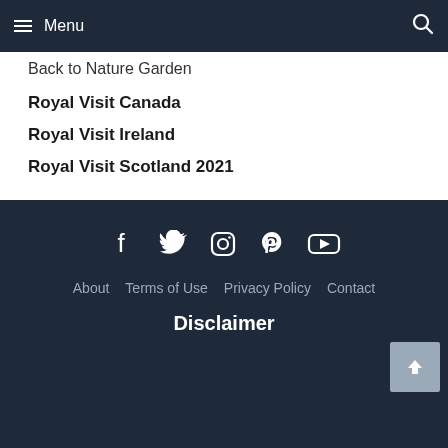Menu
Back to Nature Garden
Royal Visit Canada
Royal Visit Ireland
Royal Visit Scotland 2021
About   Terms of Use   Privacy Policy   Contact
About   Terms of Use   Privacy Policy   Contact   Disclaimer